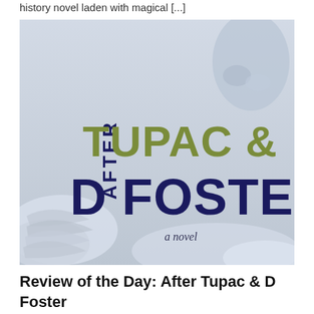history novel laden with magical [...]
[Figure (photo): Book cover of 'After Tupac & D Foster' — a novel. Light blue/grey snowy background with a child's face visible at top right and winter scene at bottom left. Large text reads 'AFTER' vertically on the left, 'TUPAC &' in olive green, 'D FOSTER' in dark navy blue, and 'a novel' in smaller text below.]
Review of the Day: After Tupac & D Foster